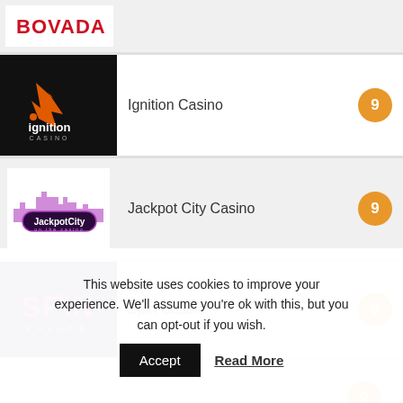[Figure (logo): Bovada logo (red text on white background, partial)]
[Figure (logo): Ignition Casino logo (flame and fox icon, white text on black background)]
Ignition Casino
[Figure (logo): JackpotCity on the casino logo on white background]
Jackpot City Casino
[Figure (logo): Spin Palace casino logo on dark blue background]
Spin Casino
This website uses cookies to improve your experience. We'll assume you're ok with this, but you can opt-out if you wish.
Accept
Read More